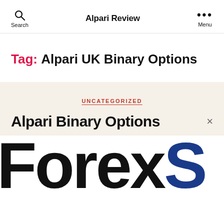Alpari Review
Tag: Alpari UK Binary Options
UNCATEGORIZED
Alpari Binary Options
[Figure (logo): Partial view of ForexS... logo text in large bold black and blue font on white background]